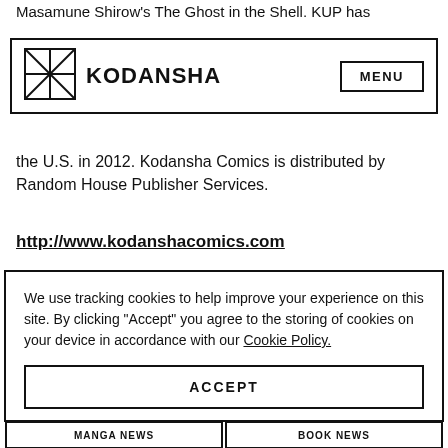Masamune Shirow's The Ghost in the Shell. KUP has
[Figure (logo): Kodansha logo: geometric square divided into 4 triangular sections, with brand name KODANSHA in bold, and MENU button on the right inside a bordered box]
the U.S. in 2012. Kodansha Comics is distributed by Random House Publisher Services.
http://www.kodanshacomics.com
We use tracking cookies to help improve your experience on this site. By clicking “Accept” you agree to the storing of cookies on your device in accordance with our Cookie Policy.
ACCEPT
MANAGE COOKIES
MANGA NEWS   BOOK NEWS